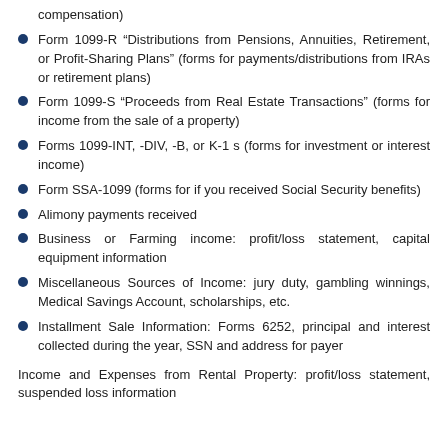compensation)
Form 1099-R “Distributions from Pensions, Annuities, Retirement, or Profit-Sharing Plans” (forms for payments/distributions from IRAs or retirement plans)
Form 1099-S “Proceeds from Real Estate Transactions” (forms for income from the sale of a property)
Forms 1099-INT, -DIV, -B, or K-1 s (forms for investment or interest income)
Form SSA-1099 (forms for if you received Social Security benefits)
Alimony payments received
Business or Farming income: profit/loss statement, capital equipment information
Miscellaneous Sources of Income: jury duty, gambling winnings, Medical Savings Account, scholarships, etc.
Installment Sale Information: Forms 6252, principal and interest collected during the year, SSN and address for payer
Income and Expenses from Rental Property: profit/loss statement, suspended loss information